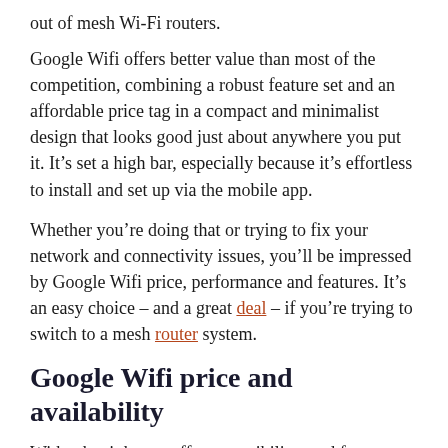out of mesh Wi-Fi routers.
Google Wifi offers better value than most of the competition, combining a robust feature set and an affordable price tag in a compact and minimalist design that looks good just about anywhere you put it. It’s set a high bar, especially because it’s effortless to install and set up via the mobile app.
Whether you’re doing that or trying to fix your network and connectivity issues, you’ll be impressed by Google Wifi price, performance and features. It’s an easy choice – and a great deal – if you’re trying to switch to a mesh router system.
Google Wifi price and availability
With what it has to offer accessibility- and features-wise, Google isn’t asking for much, particularly for what the Google Wifi can do. The first generation Wifi cost $259 (about £204, AU$399) for a set of three units, comprised of one main “Wi-Fi point” (the one you connect to the modem or gateway) and two secondary Wi-Fi points. Google promises that three Wi-Fi Points can cover up to 4,500 square feet (418 square meters) in a location.